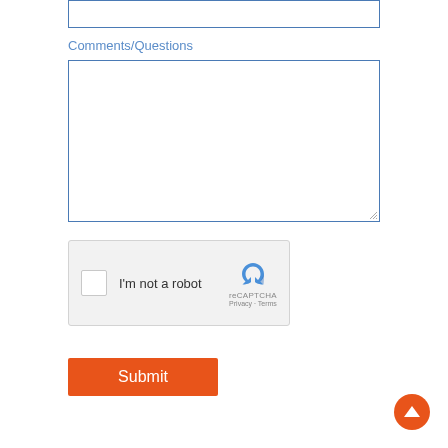[Figure (screenshot): An empty text input field with blue border at the top of the page]
Comments/Questions
[Figure (screenshot): A large empty textarea with blue border for comments/questions input, with resize handle at bottom-right]
[Figure (screenshot): reCAPTCHA widget with checkbox labeled 'I'm not a robot', reCAPTCHA logo, Privacy and Terms links]
[Figure (screenshot): Orange Submit button]
[Figure (screenshot): Orange circular scroll-to-top button with upward chevron arrow, bottom-right corner]